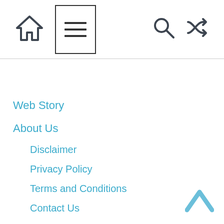Navigation header bar with home icon, menu icon, search icon, and shuffle/random icon
Web Story
About Us
Disclaimer
Privacy Policy
Terms and Conditions
Contact Us